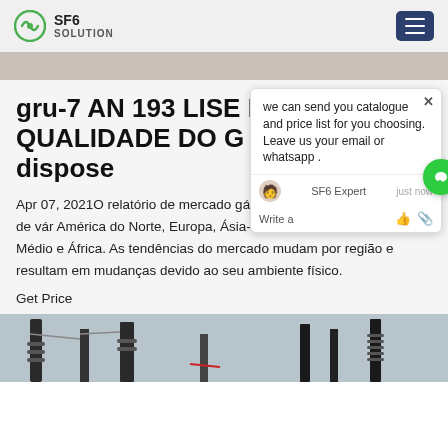SF6 SOLUTION
gru-7 AN 193 LISE DE QUALIDADE DO G 1 SF6 dispose
Apr 07, 2021O relatório de mercado gás SF6 cobre a análise de vár América do Norte, Europa, Ásia-Pa a Latina, Oriente Médio e África. As tendências do mercado mudam por região e resultam em mudanças devido ao seu ambiente físico.
Get Price
[Figure (screenshot): Chat popup overlay showing message: we can send you catalogue and price list for you choosing. Leave us your email or whatsapp. SF6 Expert just now. Write a message input area with like and attachment icons.]
[Figure (photo): Bottom strip showing industrial electrical infrastructure with tall dark towers/insulators against a light sky background.]